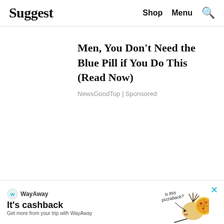Suggest | Shop  Menu  🔍
Men, You Don't Need the Blue Pill if You Do This (Read Now)
NewsGoodTop | Sponsored
[Figure (infographic): WayAway advertisement banner: logo, 'It's cashback' headline, 'Get more from your trip with WayAway' subtext, illustration of hedgehog with pizza and 'is this pizzaback?' text, close button X]